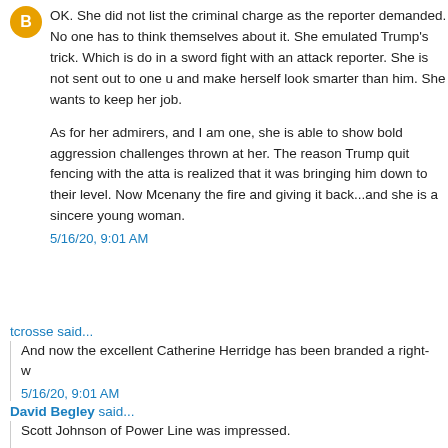OK. She did not list the criminal charge as the reporter demanded. No one has to think themselves about it. She emulated Trump’s trick. Which is do in a sword fight with an attack reporter. She is not sent out to one u and make herself look smarter than him. She wants to keep her job.
As for her admirers, and I am one, she is able to show bold aggression challenges thrown at her. The reason Trump quit fencing with the atta is realized that it was bringing him down to their level. Now Mcenany the fire and giving it back...and she is a sincere young woman.
5/16/20, 9:01 AM
tcrosse said...
And now the excellent Catherine Herridge has been branded a right-w
5/16/20, 9:01 AM
David Begley said...
Scott Johnson of Power Line was impressed.
5/16/20, 9:03 AM